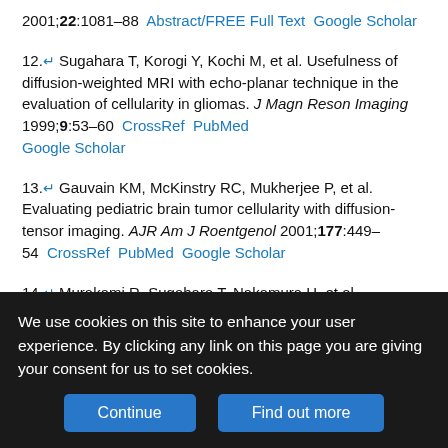2001;22:1081–88  Abstract/FREE Full Text  Google Scholar
12. Sugahara T, Korogi Y, Kochi M, et al. Usefulness of diffusion-weighted MRI with echo-planar technique in the evaluation of cellularity in gliomas. J Magn Reson Imaging 1999;9:53–60  CrossRef  PubMed  Google Scholar
13. Gauvain KM, McKinstry RC, Mukherjee P, et al. Evaluating pediatric brain tumor cellularity with diffusion-tensor imaging. AJR Am J Roentgenol 2001;177:449–54  CrossRef  PubMed  Google Scholar
14. Murakami R, Sugahara T, Nakamura H, et al. Malignant supratentorial astrocytoma treated with postoperative radiation therapy: prognostic value of pretreatment quantitative diffusion-weighted MR imaging. Radiology 2007;243:493–99  CrossRef  PubMed  Google Scholar
15. Ross BD, Moffat BA, Lawrence TS, et al. Evaluation of cancer
We use cookies on this site to enhance your user experience. By clicking any link on this page you are giving your consent for us to set cookies.